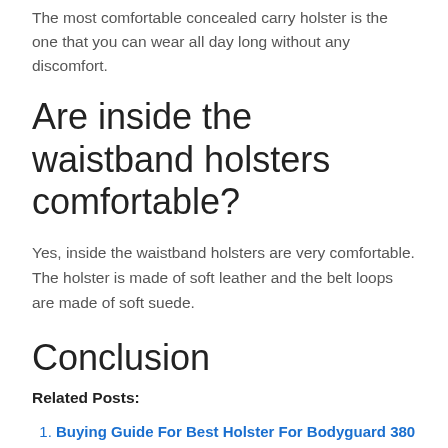The most comfortable concealed carry holster is the one that you can wear all day long without any discomfort.
Are inside the waistband holsters comfortable?
Yes, inside the waistband holsters are very comfortable. The holster is made of soft leather and the belt loops are made of soft suede.
Conclusion
Related Posts:
Buying Guide For Best Holster For Bodyguard 380 With Laser In [2022]
Buying Guide For Best Concealed Carry Holster For